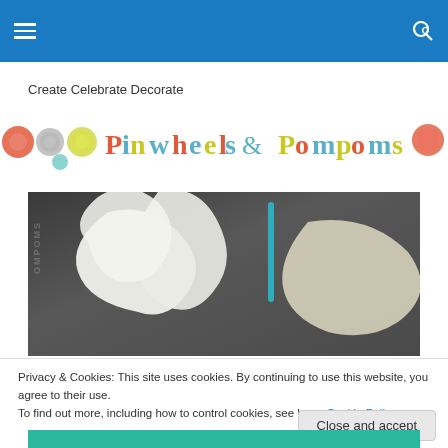Navigation bar with hamburger menu and search icon
Create Celebrate Decorate
[Figure (logo): Pinwheels & Pompoms logo banner with colorful decorative circular elements and colored typography]
[Figure (photo): Close-up photo of white flower petals with teal/blue element on dark gray background, with watermark text on left side]
Privacy & Cookies: This site uses cookies. By continuing to use this website, you agree to their use.
To find out more, including how to control cookies, see here: Cookie Policy
Close and accept